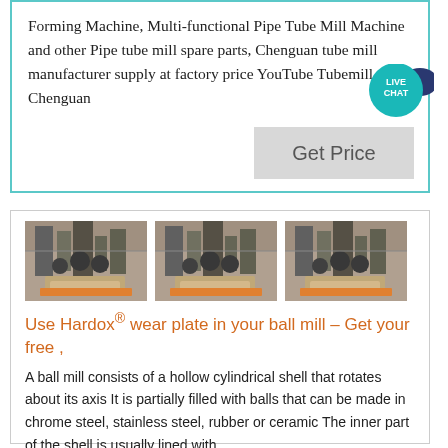Forming Machine, Multi-functional Pipe Tube Mill Machine and other Pipe tube mill spare parts, Chenguan tube mill manufacturer supply at factory price YouTube Tubemill Chenguan
[Figure (other): Live Chat button bubble icon (teal circle with dark blue speech bubble)]
[Figure (other): Get Price button (light grey rectangular button)]
[Figure (photo): Three identical photos of an industrial ball mill facility with silos and equipment]
Use Hardox® wear plate in your ball mill – Get your free ,
A ball mill consists of a hollow cylindrical shell that rotates about its axis It is partially filled with balls that can be made in chrome steel, stainless steel, rubber or ceramic The inner part of the shell is usually lined with